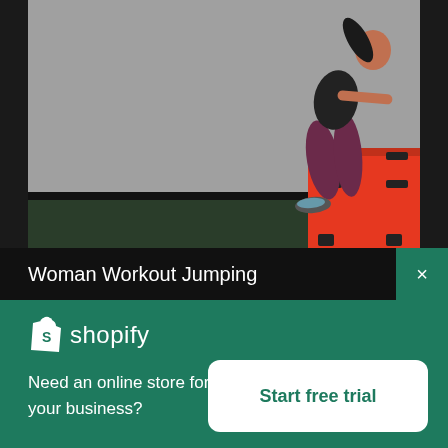[Figure (photo): Woman in workout clothes doing a box jump onto a red plyo box in a gym with green floors and grey wall background]
Woman Workout Jumping
[Figure (logo): Shopify logo — white shopping bag icon with letter S, followed by the word shopify in white]
Need an online store for your business?
Start free trial